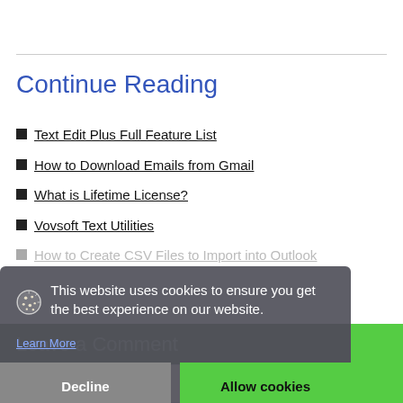Continue Reading
Text Edit Plus Full Feature List
How to Download Emails from Gmail
What is Lifetime License?
Vovsoft Text Utilities
How to Create CSV Files to Import into Outlook
This website uses cookies to ensure you get the best experience on our website.
Learn More
Decline
Allow cookies
Leave a Comment
What are your thoughts?